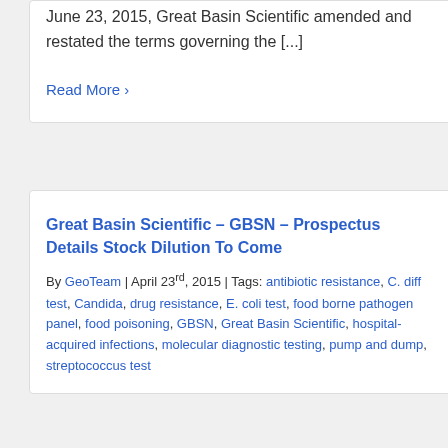June 23, 2015, Great Basin Scientific amended and restated the terms governing the [...]
Read More >
Great Basin Scientific – GBSN – Prospectus Details Stock Dilution To Come
By GeoTeam | April 23rd, 2015 | Tags: antibiotic resistance, C. diff test, Candida, drug resistance, E. coli test, food borne pathogen panel, food poisoning, GBSN, Great Basin Scientific, hospital-acquired infections, molecular diagnostic testing, pump and dump, streptococcus test